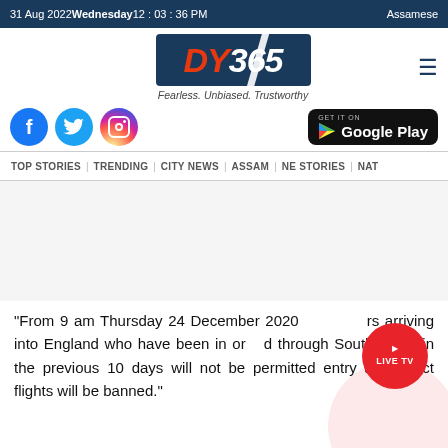31 Aug 2022 Wednesday 12 : 03 : 36 PM   Assamese
[Figure (logo): DY365 news logo with tagline Fearless. Unbiased. Trustworthy]
[Figure (infographic): Social media icons (Facebook, Twitter, Instagram) and Google Play download button]
TOP STORIES   TRENDING   CITY NEWS   ASSAM   NE STORIES   NAT
"From 9 am Thursday 24 December 2020 all passengers arriving into England who have been in or transited through South Africa in the previous 10 days will not be permitted entry and direct flights will be banned."